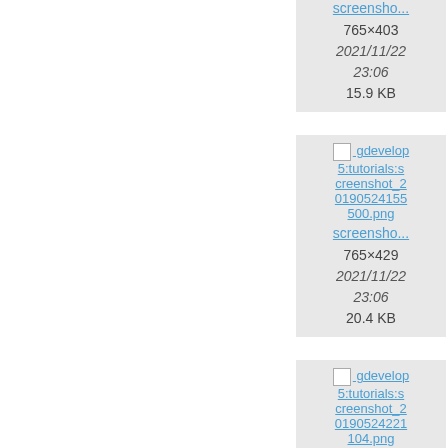[Figure (screenshot): File browser grid showing thumbnail cards. Left portion of page is blank white. Right portion shows two columns of image file cards. Each card shows a filename link, image dimensions, date, and file size. Cards visible: row 1: 'screensho...' 765×403 2021/11/22 23:06 15.9 KB and partially visible '819: 2021/ 23: 39.' partially cut off. Row 2: gdevelop5:tutorials:screenshot_20190524155500.png 'screensho...' 765×429 2021/11/22 23:06 20.4 KB and partially visible 'gd 5:tuto creen 0190 044' '598: 2021/ 23 37.' Row 3: gdevelop5:tutorials:screenshot_20190524221104.png and a partially visible thumbnail card on the right.]